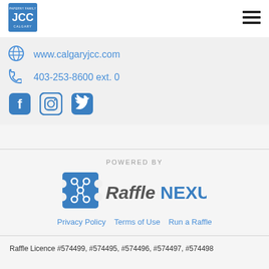[Figure (logo): JCC Calgary logo - blue square with JCC text and PAPERNY FAMILY / CALGARY text]
[Figure (other): Hamburger menu icon - three horizontal black lines]
www.calgaryjcc.com
403-253-8600 ext. 0
[Figure (other): Social media icons: Facebook, Instagram, Twitter in blue]
POWERED BY
[Figure (logo): RaffleNEXUS logo - blue icon with connected nodes and RaffleNEXUS text]
Privacy Policy   Terms of Use   Run a Raffle
Raffle Licence #574499, #574495, #574496, #574497, #574498